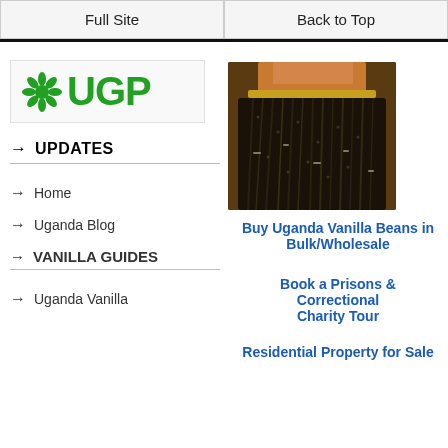Full Site | Back to Top
[Figure (logo): UGP logo with green leaf/flower icon and green bold text 'UGP']
UPDATES
[Figure (photo): A bundle of dark Uganda vanilla beans held together with a rubber band, hand visible in background]
Home
Buy Uganda Vanilla Beans in Bulk/Wholesale
Uganda Blog
Book a Prisons & Correctional Charity Tour
VANILLA GUIDES
Residential Property for Sale
Uganda Vanilla